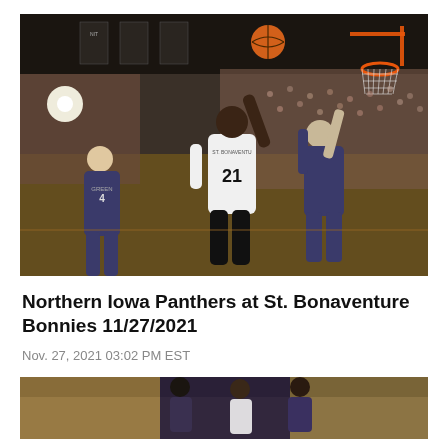[Figure (photo): Basketball game photo: St. Bonaventure player #21 in white jersey shooting over defenders, including player GREEN #4 in dark uniform, packed arena crowd in background with basketball hoop visible]
Northern Iowa Panthers at St. Bonaventure Bonnies 11/27/2021
Nov. 27, 2021 03:02 PM EST
[Figure (photo): Second basketball game photo, partially visible at bottom of page, showing players on court with crowd in background]